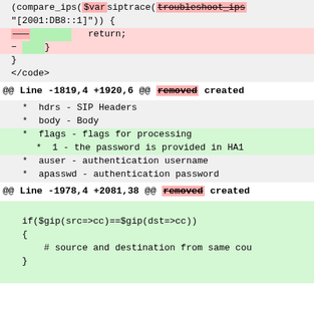[Figure (screenshot): Code diff view showing removed and added lines with pink/green highlighting. Contains two diff hunks with code changes.]